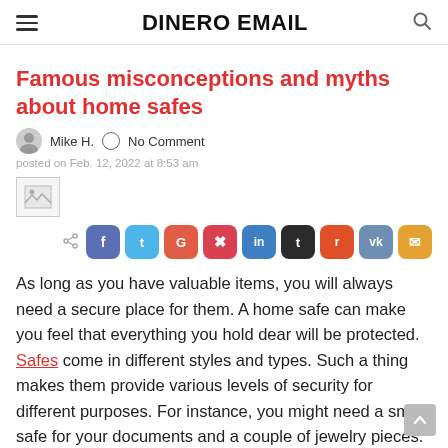DINERO EMAIL
Famous misconceptions and myths about home safes
Mike H.   No Comment
posted on Feb. 12, 2022 at 8:53 am
[Figure (photo): Broken/missing image placeholder]
Share buttons: Facebook, Twitter, Google+, Pinterest, LinkedIn, Tumblr, Reddit, VK, Email
As long as you have valuable items, you will always need a secure place for them. A home safe can make you feel that everything you hold dear will be protected. Safes come in different styles and types. Such a thing makes them provide various levels of security for different purposes. For instance, you might need a small safe for your documents and a couple of jewelry pieces. Other people